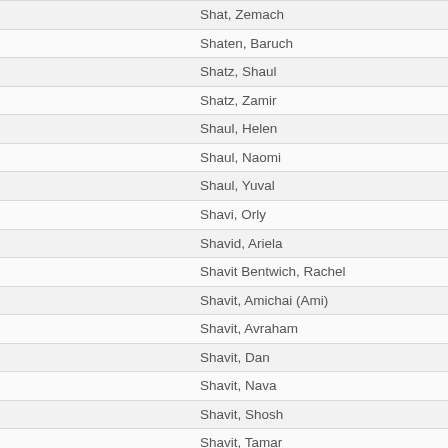Shat, Zemach
Shaten, Baruch
Shatz, Shaul
Shatz, Zamir
Shaul, Helen
Shaul, Naomi
Shaul, Yuval
Shavi, Orly
Shavid, Ariela
Shavit Bentwich, Rachel
Shavit, Amichai (Ami)
Shavit, Avraham
Shavit, Dan
Shavit, Nava
Shavit, Shosh
Shavit, Tamar
Shavit, Yoav
Shaviv, Chana
Shaw, Eldad
Shechner, Uri
Shechori, Ran
Shechter Meroz, Ariel